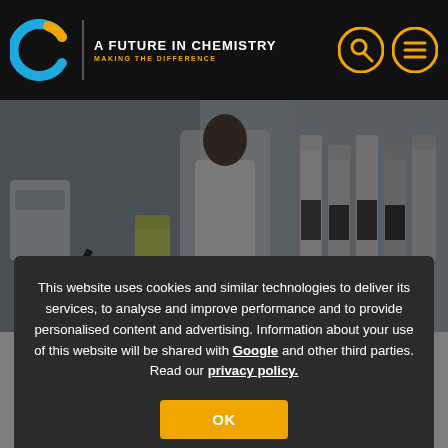A Future in Chemistry — Making the Difference
[Figure (photo): Laboratory scene with equipment, tubing, bottles and containers on benches, person in lab coat visible]
This website uses cookies and similar technologies to deliver its services, to analyse and improve performance and to provide personalised content and advertising. Information about your use of this website will be shared with Google and other third parties. Read our privacy policy.